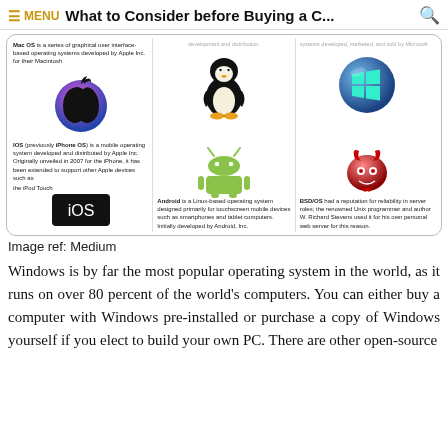≡ MENU  What to Consider before Buying a C...  🔍
[Figure (infographic): Infographic showing six operating system logos arranged in a 3x2 grid with descriptions: Mac OS (Apple logo), Linux (Tux penguin), Windows (Windows logo), iOS (iOS logo), Android (Android robot), BSD/OS (BSD devil logo). Text describes each OS.]
Image ref: Medium
Windows is by far the most popular operating system in the world, as it runs on over 80 percent of the world's computers. You can either buy a computer with Windows pre-installed or purchase a copy of Windows yourself if you elect to build your own PC. There are other open-source